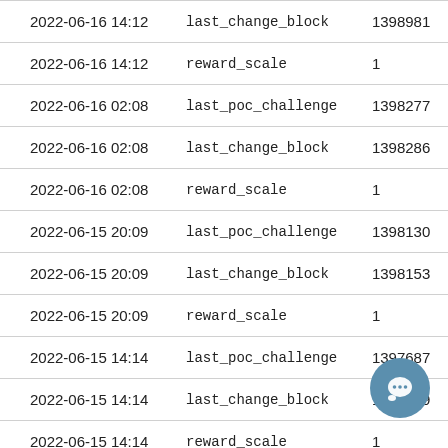| 2022-06-16 14:12 | last_change_block | 1398981 |
| 2022-06-16 14:12 | reward_scale | 1 |
| 2022-06-16 02:08 | last_poc_challenge | 1398277 |
| 2022-06-16 02:08 | last_change_block | 1398286 |
| 2022-06-16 02:08 | reward_scale | 1 |
| 2022-06-15 20:09 | last_poc_challenge | 1398130 |
| 2022-06-15 20:09 | last_change_block | 1398153 |
| 2022-06-15 20:09 | reward_scale | 1 |
| 2022-06-15 14:14 | last_poc_challenge | 1397687 |
| 2022-06-15 14:14 | last_change_block | 1397689 |
| 2022-06-15 14:14 | reward_scale | 1 |